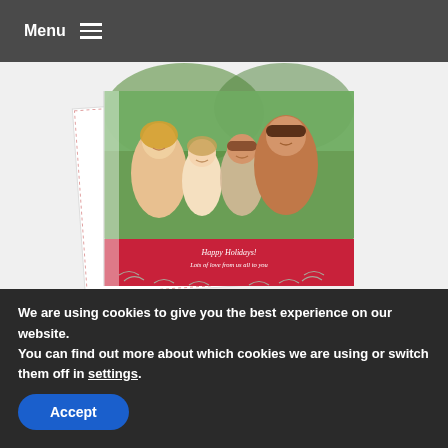Menu
[Figure (photo): A holiday greeting card folded and standing upright, showing a smiling family of four (mother, daughter, son, father) on the front with a red banner at the bottom reading 'Happy Holidays! Lots of love from us all to you' with decorative leaf/branch motifs]
Sometimes the traditional things just can't
We are using cookies to give you the best experience on our website.
You can find out more about which cookies we are using or switch them off in settings.
Accept